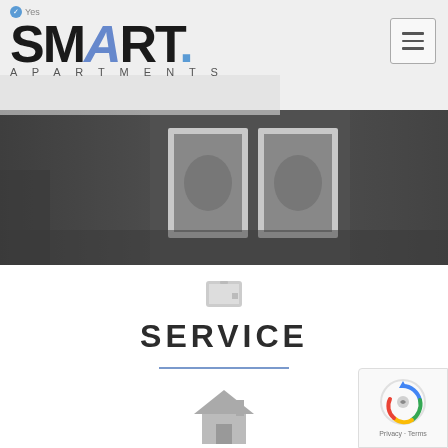SMART. APARTMENTS
[Figure (photo): Greyscale interior photo showing a dark wall with two white-framed artwork pictures/mirrors hanging side by side]
SERVICE
The Key Features of our Apartments
[Figure (illustration): House/home icon outline in grey]
[Figure (logo): Google reCAPTCHA badge with rotating arrow logo and Privacy - Terms text]